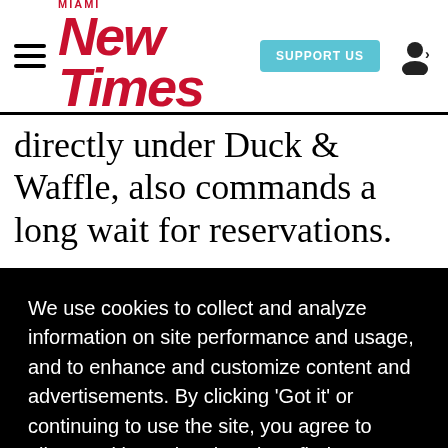Miami New Times — SUPPORT US (navigation bar with hamburger menu and user icon)
directly under Duck & Waffle, also commands a long wait for reservations.
We use cookies to collect and analyze information on site performance and usage, and to enhance and customize content and advertisements. By clicking 'Got it' or continuing to use the site, you agree to allow cookies to be placed. To find out more, visit our cookies policy and our privacy policy.
Got it!